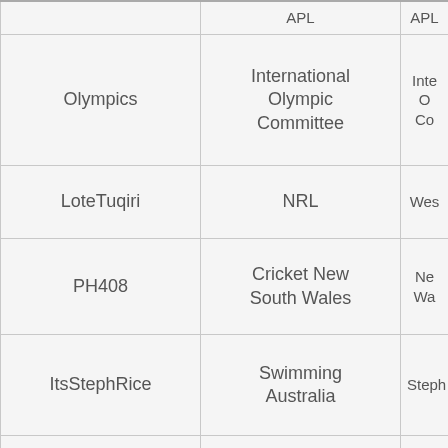|  | APL | APL |
| --- | --- | --- |
| Olympics | International Olympic Committee | Inte O Co |
| LoteTuqiri | NRL | Wes |
| PH408 | Cricket New South Wales | Ne Wa |
| ItsStephRice | Swimming Australia | Steph |
| australianopen | Tennis Australia | T Au |
| AllBlacks | Rugby World Cup | All |
| QuadeCooper | Super League | Que |
| CricketAus | Cricket Australia | C Au |
|  |  | St |